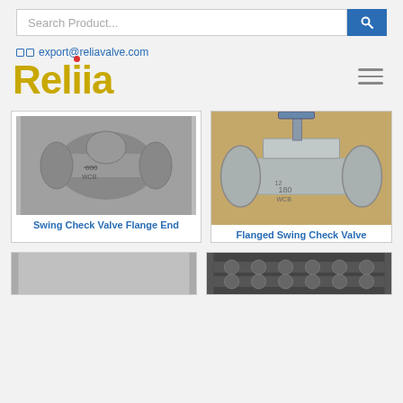Search Product...
export@reliavalve.com
Relia
[Figure (photo): Swing check valve with flange end, black and white photo of a steel valve]
Swing Check Valve Flange End
[Figure (photo): Flanged swing check valve, color photo of a large industrial valve against wooden background]
Flanged Swing Check Valve
[Figure (photo): Partial view of a product, bottom row left card]
[Figure (photo): Partial view of a product, bottom row right card]